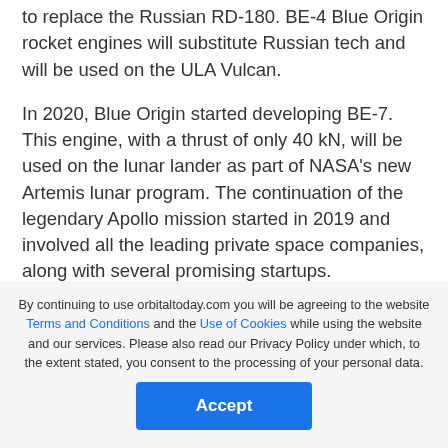to replace the Russian RD-180. BE-4 Blue Origin rocket engines will substitute Russian tech and will be used on the ULA Vulcan.
In 2020, Blue Origin started developing BE-7. This engine, with a thrust of only 40 kN, will be used on the lunar lander as part of NASA's new Artemis lunar program. The continuation of the legendary Apollo mission started in 2019 and involved all the leading private space companies, along with several promising startups.
While BE-7 is still in the early development stages, it is too early to say anything about the engine's
By continuing to use orbitaltoday.com you will be agreeing to the website Terms and Conditions and the Use of Cookies while using the website and our services. Please also read our Privacy Policy under which, to the extent stated, you consent to the processing of your personal data.
Accept